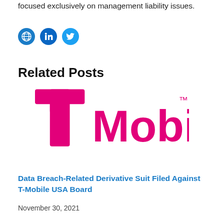focused exclusively on management liability issues.
[Figure (logo): Social media icons: globe (website), LinkedIn, Twitter]
Related Posts
[Figure (logo): T-Mobile logo in magenta/pink color]
Data Breach-Related Derivative Suit Filed Against T-Mobile USA Board
November 30, 2021